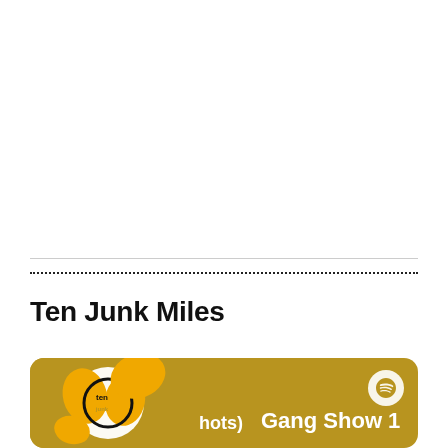Ten Junk Miles
[Figure (screenshot): A Spotify podcast card with golden-brown background showing the Ten Junk Miles podcast logo on the left and text 'hots) Gang Show 1' with a Spotify icon in the upper right.]